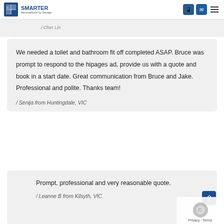SMARTER Renovations by Design
/ Cher Lin
We needed a toilet and bathroom fit off completed ASAP. Bruce was prompt to respond to the hipages ad, provide us with a quote and book in a start date. Great communication from Bruce and Jake. Professional and polite. Thanks team!
/ Senija from Huntingdale, VIC
Prompt, professional and very reasonable quote.
/ Leanne B from Kilsyth, VIC